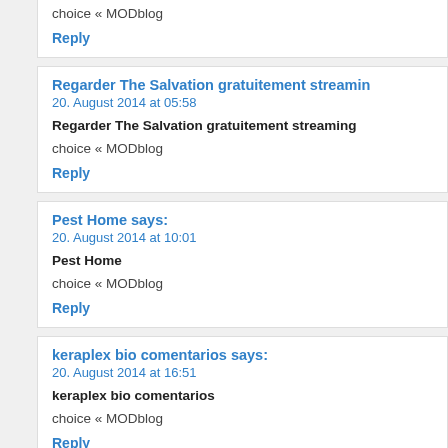choice « MODblog
Reply
Regarder The Salvation gratuitement streaming
20. August 2014 at 05:58
Regarder The Salvation gratuitement streaming
choice « MODblog
Reply
Pest Home says:
20. August 2014 at 10:01
Pest Home
choice « MODblog
Reply
keraplex bio comentarios says:
20. August 2014 at 16:51
keraplex bio comentarios
choice « MODblog
Reply